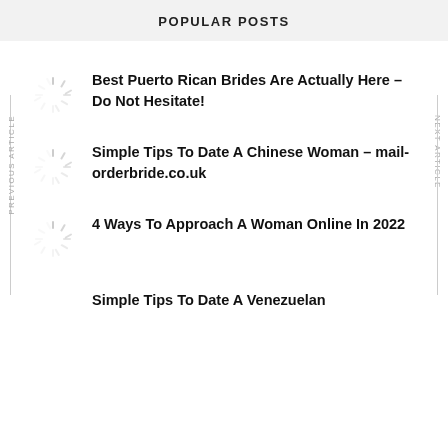POPULAR POSTS
Best Puerto Rican Brides Are Actually Here – Do Not Hesitate!
Simple Tips To Date A Chinese Woman – mail-orderbride.co.uk
4 Ways To Approach A Woman Online In 2022
Simple Tips To Date A Venezuelan